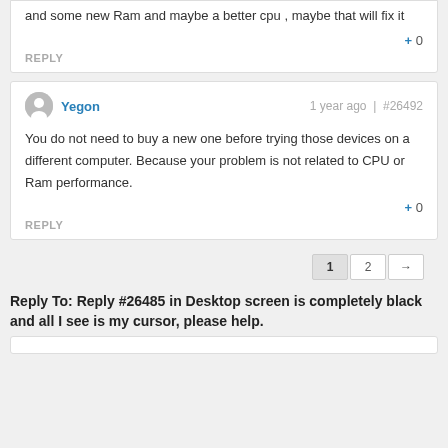and some new Ram and maybe a better cpu , maybe that will fix it
+ 0
REPLY
Yegon | 1 year ago | #26492
You do not need to buy a new one before trying those devices on a different computer. Because your problem is not related to CPU or Ram performance.
+ 0
REPLY
1  2  →
Reply To: Reply #26485 in Desktop screen is completely black and all I see is my cursor, please help.